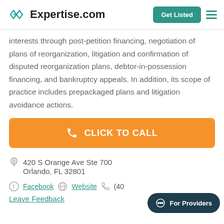Expertise.com | Get Listed
interests through post-petition financing, negotiation of plans of reorganization, litigation and confirmation of disputed reorganization plans, debtor-in-possession financing, and bankruptcy appeals. In addition, its scope of practice includes prepackaged plans and litigation avoidance actions.
[Figure (other): Orange 'CLICK TO CALL' button with phone icon]
420 S Orange Ave Ste 700
Orlando, FL 32801
Facebook   Website   (40...
Leave Feedback